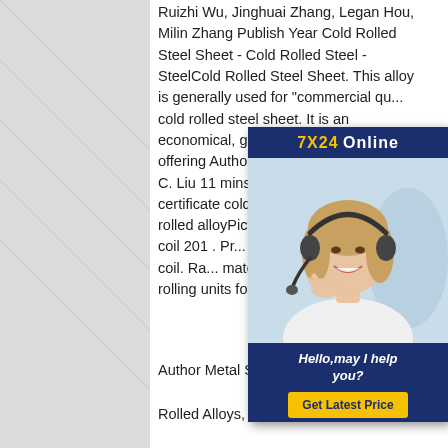Ruizhi Wu, Jinghuai Zhang, Legan Hou, Milin Zhang Publish Year Cold Rolled Steel Sheet - Cold Rolled Steel - SteelCold Rolled Steel Sheet. This alloy is generally used for "commercial qu... cold rolled steel sheet. It is an economical, general purpose stee... offering Author J. X. Zhang, H. Y. Du, W. C. Liu 11 mins Publish Ye... AISI mill test certificate cold rolled... stainless cold rolled alloyPictures... rolled stainless steel coil 201 . Pr... Flow about stainless steel coil. Ra... materials are sending to hot rolling units for rolling into
[Figure (other): Online chat widget with '7X24 Online' header in dark blue and yellow, a photo of a woman wearing a headset smiling, text 'Hello, may I help you?' and a yellow 'Get Latest Price' button.]
Author Metal Supermarkets 304 / 304L -
Rolled Alloys, Inc.